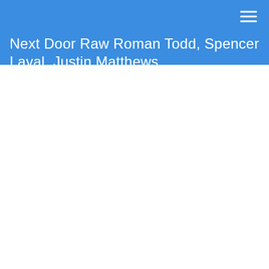Next Door Raw Roman Todd, Spencer Laval, Justin Matthews